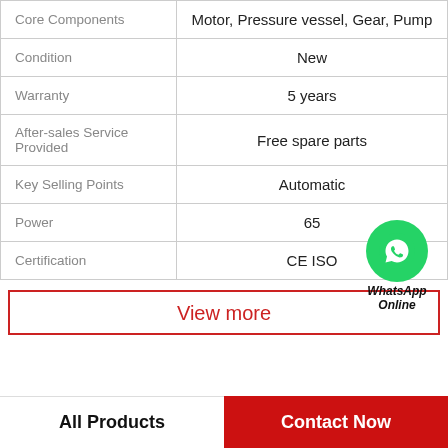|  |  |
| --- | --- |
| Core Components | Motor, Pressure vessel, Gear, Pump |
| Condition | New |
| Warranty | 5 years |
| After-sales Service Provided | Free spare parts |
| Key Selling Points | Automatic |
| Power | 65 |
| Certification | CE ISO |
View more
All Products
Contact Now